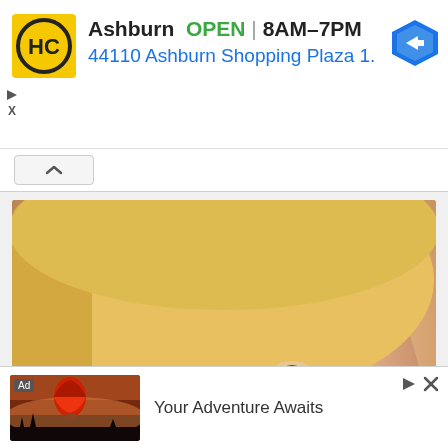[Figure (infographic): Top advertisement banner: HC (Husband and Company) logo in yellow square with black H and C. Text shows 'Ashburn OPEN | 8AM–7PM' and '44110 Ashburn Shopping Plaza 1.' with a blue navigation arrow icon. Small play and X icons on left side.]
[Figure (photo): Dental office photo: close-up of a blonde woman smiling with white teeth, dentist holding a tooth shade guide/veneer samples in teal/green gloves against her teeth for color matching. Light background.]
[Figure (infographic): Bottom advertisement banner: Ad label, thumbnail of hot air balloon at dusk/desert landscape, text 'Your Adventure Awaits', with play and X icons.]